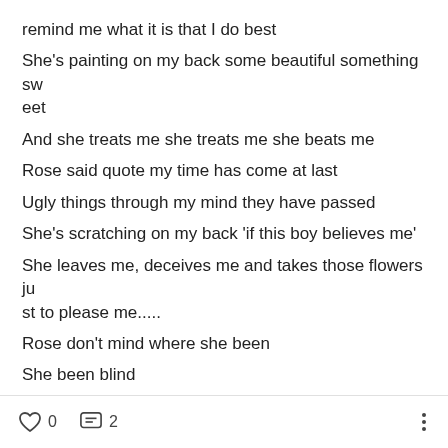remind me what it is that I do best
She's painting on my back some beautiful something sweet
And she treats me she treats me she beats me
Rose said quote my time has come at last
Ugly things through my mind they have passed
She's scratching on my back 'if this boy believes me'
She leaves me, deceives me and takes those flowers just to please me.....
Rose don't mind where she been
She been blind
She been mine
0   2